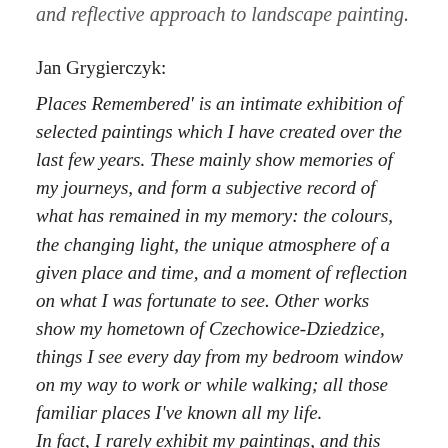and reflective approach to landscape painting.
Jan Grygierczyk:
Places Remembered' is an intimate exhibition of selected paintings which I have created over the last few years. These mainly show memories of my journeys, and form a subjective record of what has remained in my memory: the colours, the changing light, the unique atmosphere of a given place and time, and a moment of reflection on what I was fortunate to see. Other works show my hometown of Czechowice-Dziedzice, things I see every day from my bedroom window on my way to work or while walking; all those familiar places I've known all my life.
In fact, I rarely exhibit my paintings, and this presentation is unique for me for personal reasons. It strongly reminds me that painting has always been a